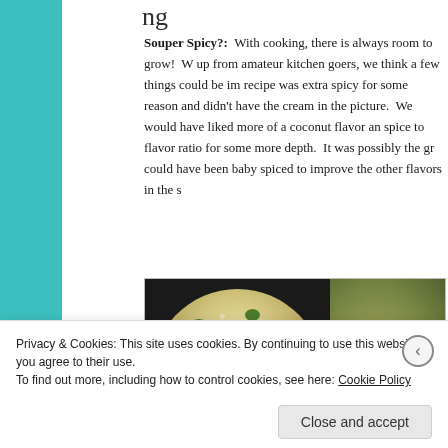Souper Spicy?: With cooking, there is always room to grow! We would say, coming up from amateur kitchen goers, we think a few things could be improved. The recipe was extra spicy for some reason and didn't have the creamy color shown in the picture. We would have liked more of a coconut flavor and to adjust the spice to flavor ratio for some more depth. It was possibly the green onion that could have been baby spiced to improve the other flavors in the soup.
[Figure (photo): Two side-by-side photos of soup cooking in pots. Left image shows a creamy soup with broccoli florets in a large metal pan. Right image shows a green soup in a smaller pot.]
Privacy & Cookies: This site uses cookies. By continuing to use this website, you agree to their use.
To find out more, including how to control cookies, see here: Cookie Policy
Close and accept